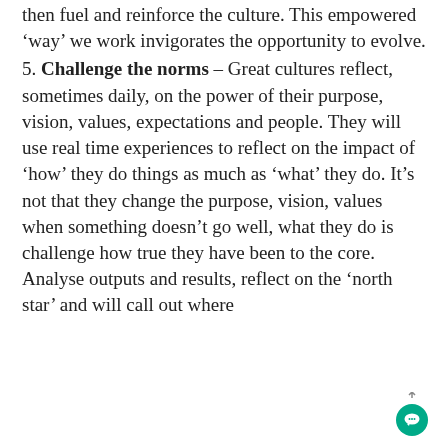then fuel and reinforce the culture. This empowered ‘way’ we work invigorates the opportunity to evolve.
5. Challenge the norms – Great cultures reflect, sometimes daily, on the power of their purpose, vision, values, expectations and people. They will use real time experiences to reflect on the impact of ‘how’ they do things as much as ‘what’ they do. It’s not that they change the purpose, vision, values when something doesn’t go well, what they do is challenge how true they have been to the core. Analyse outputs and results, reflect on the ‘north star’ and will call out where